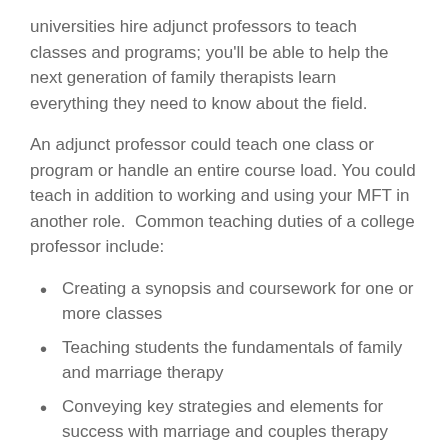universities hire adjunct professors to teach classes and programs; you'll be able to help the next generation of family therapists learn everything they need to know about the field.
An adjunct professor could teach one class or program or handle an entire course load. You could teach in addition to working and using your MFT in another role.  Common teaching duties of a college professor include:
Creating a synopsis and coursework for one or more classes
Teaching students the fundamentals of family and marriage therapy
Conveying key strategies and elements for success with marriage and couples therapy
Using real world examples and strategies to give students insight into therapy methods and